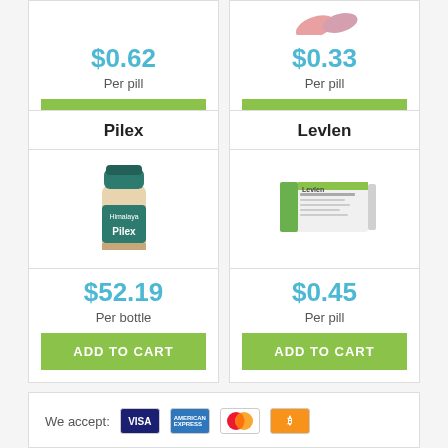$0.62
Per pill
ADD TO CART
$0.33
Per pill
ADD TO CART
Pilex
[Figure (photo): Himalaya Pilex herbal supplement bottle with dark green cap]
$52.19
Per bottle
ADD TO CART
Levlen
[Figure (photo): Levlen contraceptive pill box, white and green packaging]
$0.45
Per pill
ADD TO CART
We accept: